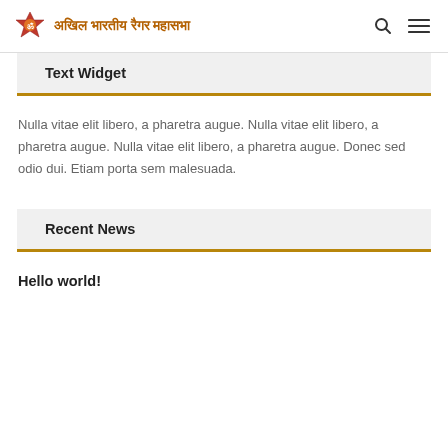अखिल भारतीय रैगर महासभा
Text Widget
Nulla vitae elit libero, a pharetra augue. Nulla vitae elit libero, a pharetra augue. Nulla vitae elit libero, a pharetra augue. Donec sed odio dui. Etiam porta sem malesuada.
Recent News
Hello world!